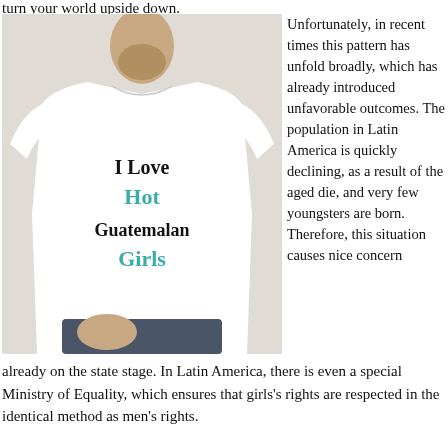turn your world upside down.
[Figure (photo): Man wearing a white t-shirt printed with 'I Love Hot Guatemalan Girls' in black and teal letters]
Unfortunately, in recent times this pattern has unfold broadly, which has already introduced unfavorable outcomes. The population in Latin America is quickly declining, as a result of the aged die, and very few youngsters are born. Therefore, this situation causes nice concern already on the state stage. In Latin America, there is even a special Ministry of Equality, which ensures that girls’s rights are respected in the identical method as men’s rights.